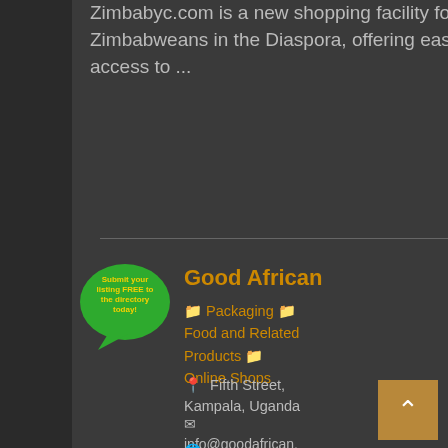Zimbabyc.com is a new shopping facility for Zimbabweans in the Diaspora, offering easy access to ...
[Figure (logo): Green speech bubble logo with yellow text reading 'Submit your listing FREE to the directory today!']
Good African
📁 Packaging 📁 Food and Related Products 📁 Online Shops
📍 Fifth Street, Kampala, Uganda
✉ info@goodafrican.com
🌐 http://www.goodafrican.com/